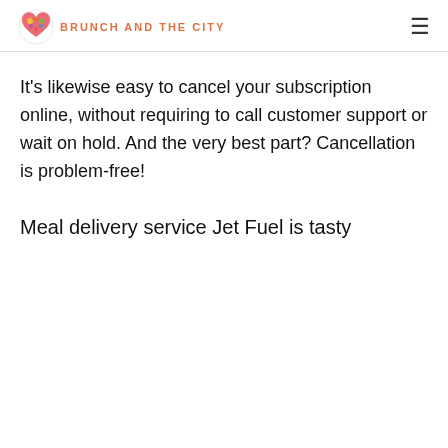BRUNCH AND THE CITY
It's likewise easy to cancel your subscription online, without requiring to call customer support or wait on hold. And the very best part? Cancellation is problem-free!
Meal delivery service Jet Fuel is tasty